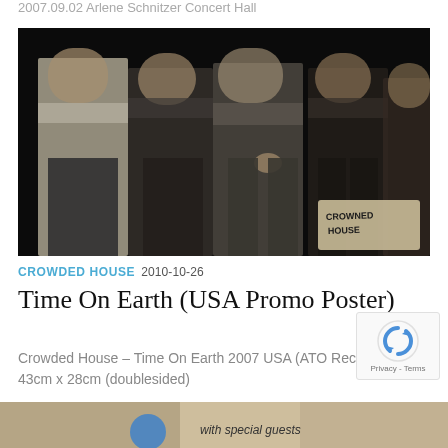2007.09.02 Arlene Schnitzer Concert Hall
[Figure (photo): Group photo of Crowded House band members standing together in formal attire, dark background, with a handwritten 'Crowded House' sign visible in the lower right corner.]
CROWDED HOUSE  2010-10-26
Time On Earth (USA Promo Poster)
Crowded House – Time On Earth 2007 USA (ATO Records)
43cm x 28cm (doublesided)
[Figure (photo): Partial view of another image at the bottom with text 'with special guests']